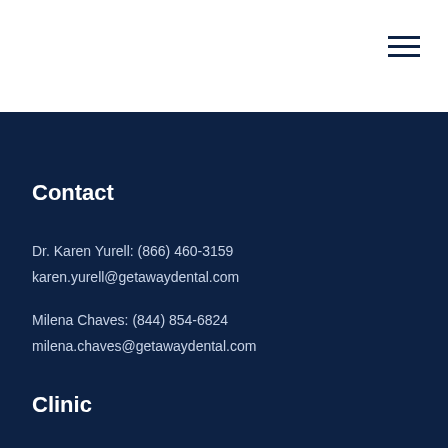Contact
Dr. Karen Yurell: (866) 460-3159
karen.yurell@getawaydental.com
Milena Chaves: (844) 854-6824
milena.chaves@getawaydental.com
Clinic